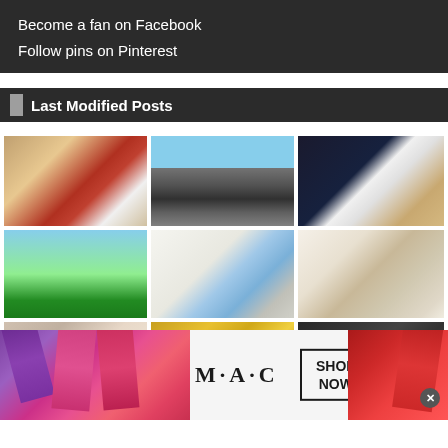Become a fan on Facebook
Follow pins on Pinterest
Last Modified Posts
[Figure (photo): Person chopping vegetables (tomatoes, bowl) in kitchen]
[Figure (photo): Modern house / building exterior with dark windows]
[Figure (photo): Person working on laptop from overhead view]
[Figure (photo): Child on swing set in garden]
[Figure (photo): Insurance document with umbrella logo near laptop]
[Figure (photo): Modern interior living room / kitchen]
[Figure (photo): Women's shoes / flats arranged together]
[Figure (photo): Gold coins and treasure]
[Figure (photo): Dark background with oval / ring shapes (jewelry?)]
[Figure (advertisement): MAC cosmetics advertisement with lipsticks and SHOP NOW button]